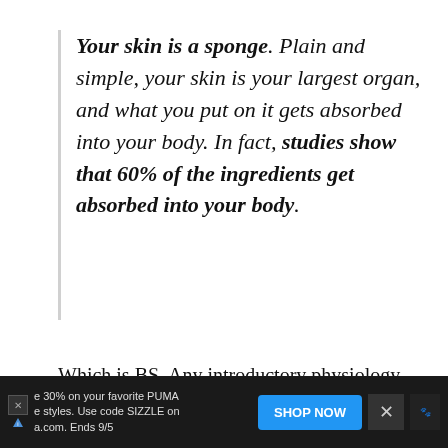Your skin is a sponge. Plain and simple, your skin is your largest organ, and what you put on it gets absorbed into your body. In fact, studies show that 60% of the ingredients get absorbed into your body.
Which is BS. Any introductory physiology textbook (or even Wikipedia) will tell you that skin's main function is as a barrier, very little can get through it